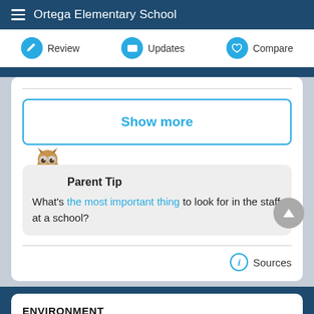Ortega Elementary School
Review | Updates | Compare
Show more
Parent Tip
What's the most important thing to look for in the staff at a school?
Sources
ENVIRONMENT